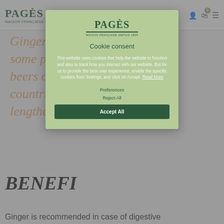[Figure (screenshot): Website screenshot showing the Pagès brand page with a cookie consent modal overlay. Background shows the Pagès logo, navigation icons, italic orange text about ginger, and a BENEFITS section heading. The modal is centered with a green background, Pagès logo, 'Cookie consent' heading, descriptive text about cookie usage, and three buttons: Preferences, Reject All, and Accept All.]
Cookie consent
This website uses cookies that help the website to function and also to track how you interact with our website. But for us to provide the best user experience, enable the specific cookies from Settings, and click on Accept. Read More
Preferences
Reject All
Accept All